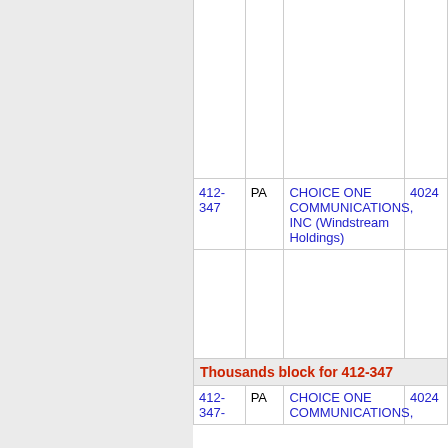| NPA-NXX | State | Company Name | OCN |
| --- | --- | --- | --- |
| 412-347 | PA | CHOICE ONE COMMUNICATIONS, INC (Windstream Holdings) | 4024 |
| Thousands block for 412-347 |  |  |  |
| 412-347- | PA | CHOICE ONE COMMUNICATIONS, | 4024 |